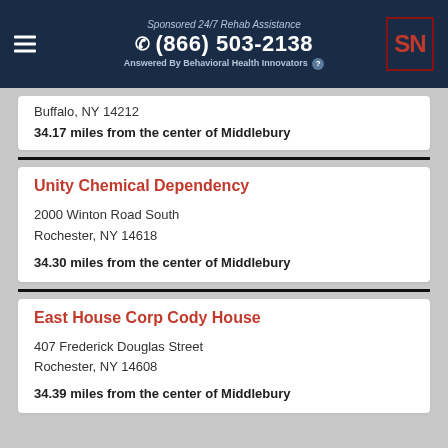Sponsored 24/7 Rehab Assistance (866) 503-2138 Answered By Behavioral Health Innovators
Buffalo, NY 14212
34.17 miles from the center of Middlebury
Unity Chemical Dependency
2000 Winton Road South
Rochester, NY 14618
34.30 miles from the center of Middlebury
East House Corp Cody House
407 Frederick Douglas Street
Rochester, NY 14608
34.39 miles from the center of Middlebury